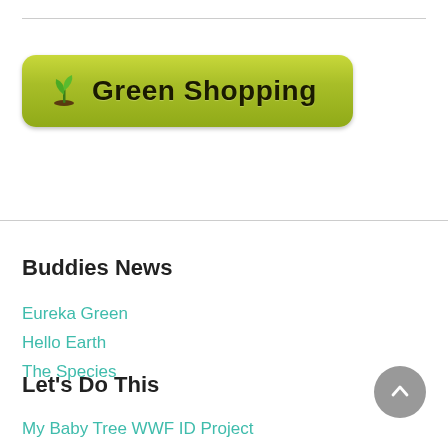[Figure (illustration): Green Shopping button with a seedling/sprout icon on a yellow-green gradient pill-shaped button]
Buddies News
Eureka Green
Hello Earth
The Species
Let's Do This
My Baby Tree WWF ID Project
Turtle Hope WWF ID Project